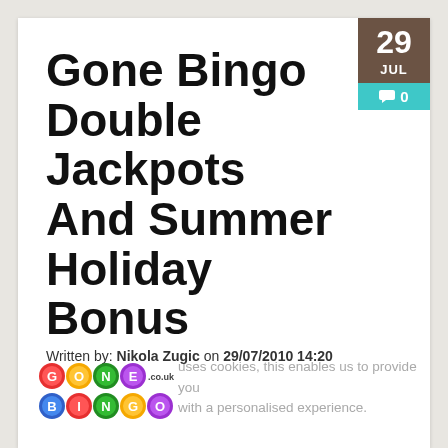Gone Bingo Double Jackpots And Summer Holiday Bonus
Written by: Nikola Zugic on 29/07/2010 14:20
[Figure (logo): Gone Bingo logo with colorful bingo balls spelling GONEBINGO and .co.uk text]
Bingo uses cookies, this enables us to provide you with a personalised experience.